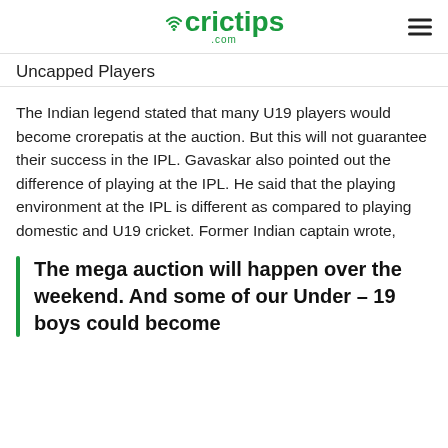crictips.com
Uncapped Players
The Indian legend stated that many U19 players would become crorepatis at the auction. But this will not guarantee their success in the IPL. Gavaskar also pointed out the difference of playing at the IPL. He said that the playing environment at the IPL is different as compared to playing domestic and U19 cricket. Former Indian captain wrote,
The mega auction will happen over the weekend. And some of our Under – 19 boys could become